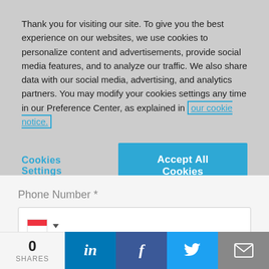Thank you for visiting our site. To give you the best experience on our websites, we use cookies to personalize content and advertisements, provide social media features, and to analyze our traffic. We also share data with our social media, advertising, and analytics partners. You may modify your cookies settings any time in our Preference Center, as explained in our cookie notice.
Cookies Settings
Accept All Cookies
Phone Number *
[Figure (screenshot): Phone number input field with Singapore flag and dropdown arrow]
Company Name *
[Figure (screenshot): Company name text input field, partially visible]
0 SHARES
in
f
Twitter bird icon
Email envelope icon